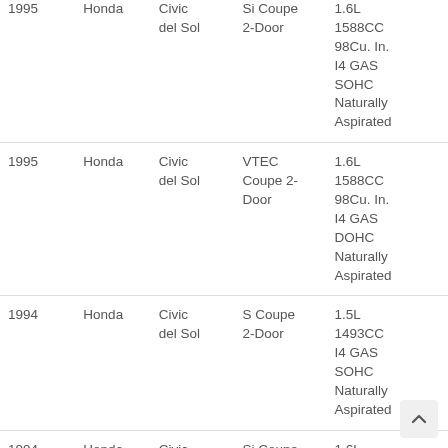| Year | Make | Model | Style/Body | Engine |
| --- | --- | --- | --- | --- |
| 1995 | Honda | Civic del Sol | Si Coupe 2-Door | 1.6L 1588CC 98Cu. In. I4 GAS SOHC Naturally Aspirated |
| 1995 | Honda | Civic del Sol | VTEC Coupe 2-Door | 1.6L 1588CC 98Cu. In. I4 GAS DOHC Naturally Aspirated |
| 1994 | Honda | Civic del Sol | S Coupe 2-Door | 1.5L 1493CC I4 GAS SOHC Naturally Aspirated |
| 1994 | Honda | Civic ... | Si Coupe ... | 1.6L ... |